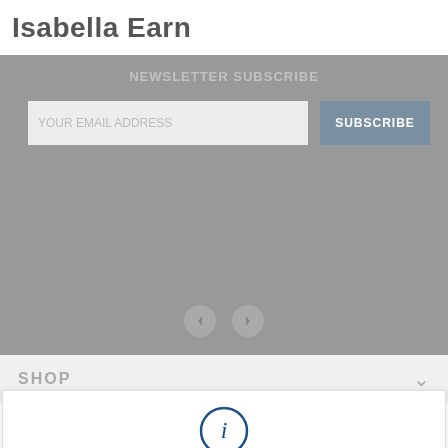Isabella Earn
[Figure (screenshot): Gray newsletter subscription banner with email input field and SUBSCRIBE button, and navigation arrows at the bottom]
SHOP
Cookies are used on this site to provide the best user experience. If you continue, we assume that you agree to receive cookies from this site.